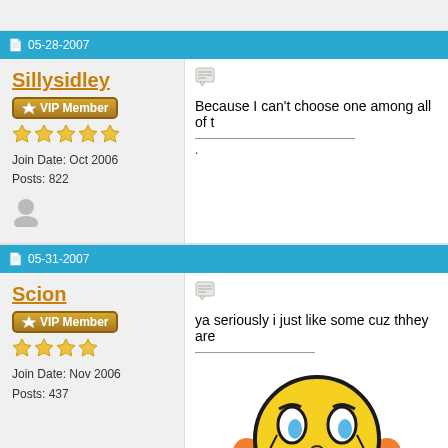05-28-2007
Sillysidley
VIP Member
Join Date: Oct 2006
Posts: 822
Because I can't choose one among all of t
05-31-2007
Scion
VIP Member
Join Date: Nov 2006
Posts: 437
ya seriously i just like some cuz thhey are
[Figure (illustration): Sad/worried yellow smiley face emoji with hands on head]